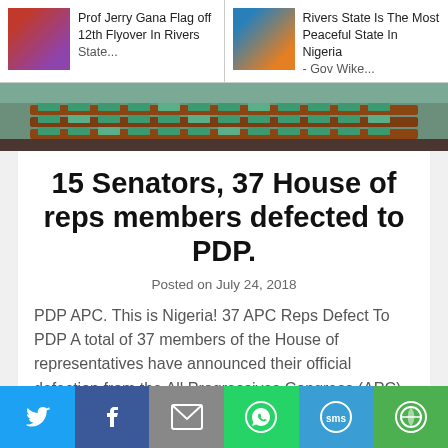Prof Jerry Gana Flag off 12th Flyover In Rivers State
Rivers State Is The Most Peaceful State In Nigeria - Gov Wike
[Figure (photo): Nigerian legislative chamber with red wooden benches and green seat cushions]
15 Senators, 37 House of reps members defected to PDP.
Posted on July 24, 2018
PDP APC. This is Nigeria! 37 APC Reps Defect To PDP A total of 37 members of the House of representatives have announced their official defection from the All Progressives Congress (APC) to the Peoples Democratic Party (PDP).
Social share bar: Twitter, Facebook, Email, WhatsApp, SMS, More